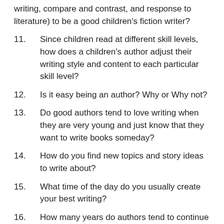writing, compare and contrast, and response to literature) to be a good children's fiction writer?
11.       Since children read at different skill levels, how does a children's author adjust their writing style and content to each particular skill level?
12.       Is it easy being an author? Why or Why not?
13.       Do good authors tend to love writing when they are very young and just know that they want to write books someday?
14.       How do you find new topics and story ideas to write about?
15.       What time of the day do you usually create your best writing?
16.       How many years do authors tend to continue to write books before they decide to retire from writing?
17.       Could you write your whole life because you